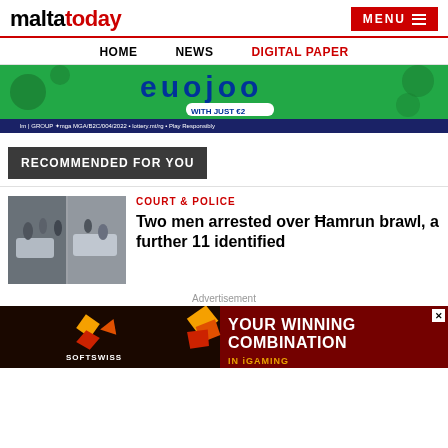maltatoday | MENU
HOME | NEWS | DIGITAL PAPER
[Figure (infographic): Advertisement banner with green background, lottery related imagery, with text 'WITH JUST €2' and footer regulatory text]
RECOMMENDED FOR YOU
[Figure (photo): CCTV-style image of a street brawl in Hamrun]
COURT & POLICE
Two men arrested over Ħamrun brawl, a further 11 identified
Advertisement
[Figure (infographic): SOFTSWISS advertisement banner with dark background showing 'YOUR WINNING COMBINATION IN iGAMING' with close button]